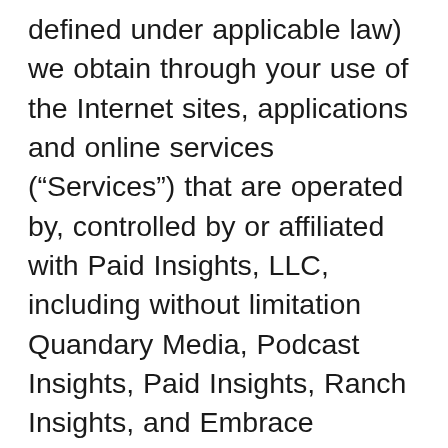defined under applicable law) we obtain through your use of the Internet sites, applications and online services (“Services”) that are operated by, controlled by or affiliated with Paid Insights, LLC, including without limitation Quandary Media, Podcast Insights, Paid Insights, Ranch Insights, and Embrace Outside (collectively, “we,” “us” or “our”). This Privacy Policy only covers information collected through the Services and via direct communications between you and Paid Insights, and does not cover any information collected at any other